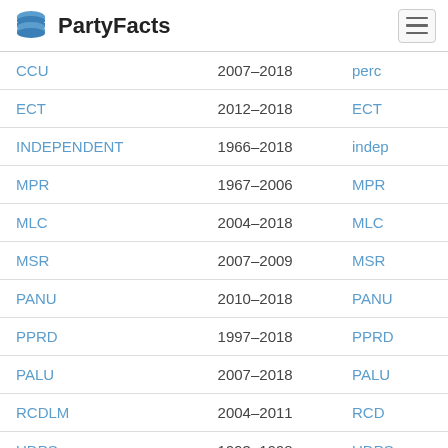PartyFacts
| CCU | 2007–2018 | perc |
| ECT | 2012–2018 | ECT |
| INDEPENDENT | 1966–2018 | indep |
| MPR | 1967–2006 | MPR |
| MLC | 2004–2018 | MLC |
| MSR | 2007–2009 | MSR |
| PANU | 2010–2018 | PANU |
| PPRD | 1997–2018 | PPRD |
| PALU | 2007–2018 | PALU |
| RCDLM | 2004–2011 | RCD |
| UDPS | 1993–1998 | UDPS |